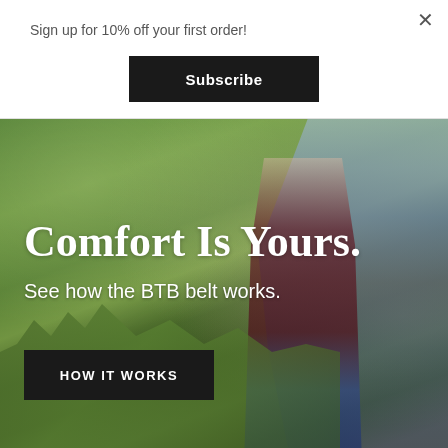Sign up for 10% off your first order!
×
Subscribe
[Figure (photo): Outdoor photo of a couple standing in a desert landscape with green cactus and shrubs in the background. The man wears a light blue shirt and sunglasses; the woman wears a dark red top. Overlaid with white text.]
Comfort Is Yours.
See how the BTB belt works.
HOW IT WORKS